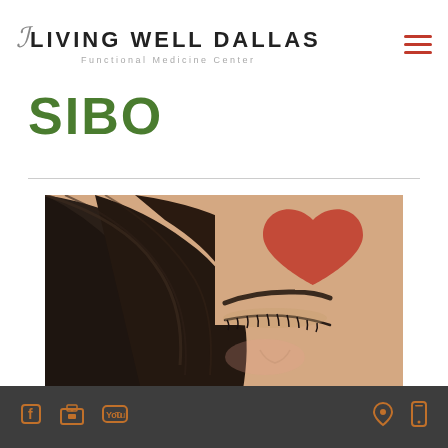LIVING WELL DALLAS — Functional Medicine Center
SIBO
[Figure (photo): Close-up photo of a woman with dark wavy hair, eyes closed, with a red heart-shaped mark on her forehead/cheek area, and lips visible at the bottom of the frame.]
Social media icons (Facebook, store/blog, YouTube) on left; location pin and mobile phone icons on right